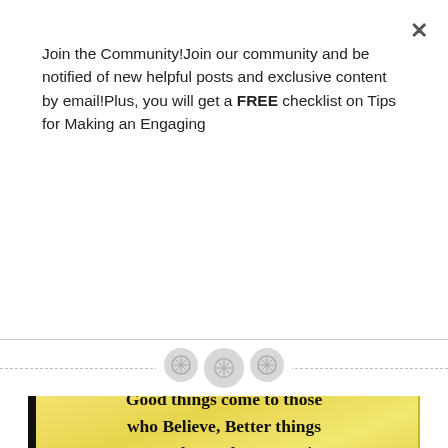Join the Community!Join our community and be notified of new helpful posts and exclusive content by email!Plus, you will get a FREE checklist on Tips for Making an Engaging
Click to Join!
[Figure (other): Horizontal dashed divider line with three circular button icons in the center]
[Figure (illustration): Parchment scroll-style card with motivational quote: 'Good things come to those who Believe, Better things come to those who are Patient and the Best Things come to those who Don't Give Up']